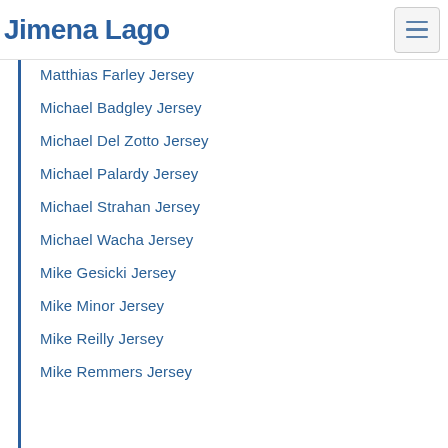Jimena Lago
Matthias Farley Jersey
Michael Badgley Jersey
Michael Del Zotto Jersey
Michael Palardy Jersey
Michael Strahan Jersey
Michael Wacha Jersey
Mike Gesicki Jersey
Mike Minor Jersey
Mike Reilly Jersey
Mike Remmers Jersey